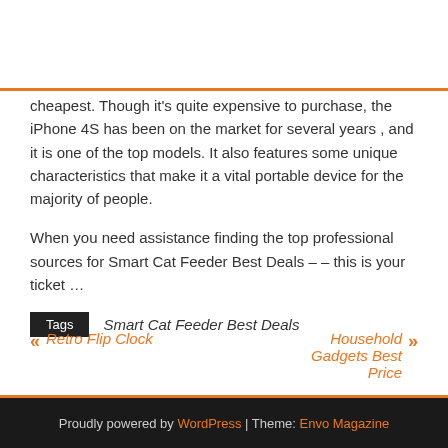cheapest. Though it's quite expensive to purchase, the iPhone 4S has been on the market for several years , and it is one of the top models. It also features some unique characteristics that make it a vital portable device for the majority of people.
When you need assistance finding the top professional sources for Smart Cat Feeder Best Deals – – this is your ticket …
Tags   Smart Cat Feeder Best Deals
« Retro Flip Clock
Household Gadgets Best Price »
Proudly powered by WordPress | Theme: Envo Magazine